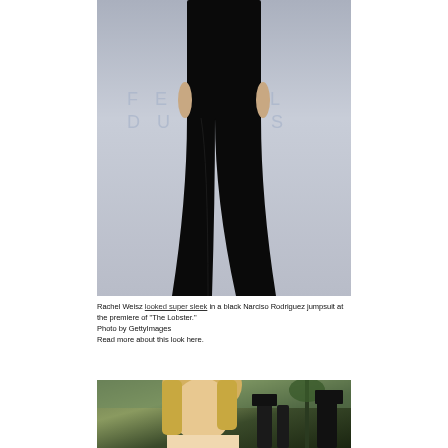[Figure (photo): Photo of person wearing a black jumpsuit/pants on a light grey background with partial text 'FESTIVAL DU...' visible]
Rachel Weisz looked super sleek in a black Narciso Rodriguez jumpsuit at the premiere of "The Lobster." Photo by GettyImages Read more about this look here.
[Figure (photo): Photo of a blonde woman at what appears to be a red carpet event with photographers and palm trees in the background]